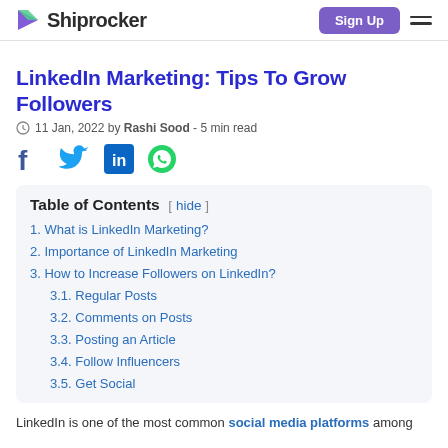Shiprocker | Sign Up
LinkedIn Marketing: Tips To Grow Followers
11 Jan, 2022 by Rashi Sood - 5 min read
[Figure (illustration): Social share icons: Facebook, Twitter, LinkedIn, WhatsApp]
| Table of Contents |
| --- |
| 1. What is LinkedIn Marketing? |
| 2. Importance of LinkedIn Marketing |
| 3. How to Increase Followers on LinkedIn? |
| 3.1. Regular Posts |
| 3.2. Comments on Posts |
| 3.3. Posting an Article |
| 3.4. Follow Influencers |
| 3.5. Get Social |
LinkedIn is one of the most common social media platforms among